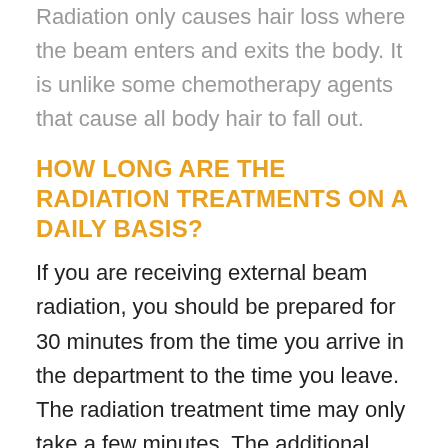Radiation only causes hair loss where the beam enters and exits the body. It is unlike some chemotherapy agents that cause all body hair to fall out.
HOW LONG ARE THE RADIATION TREATMENTS ON A DAILY BASIS?
If you are receiving external beam radiation, you should be prepared for 30 minutes from the time you arrive in the department to the time you leave. The radiation treatment time may only take a few minutes. The additional time is spent preparing for your treatment. Some types of radiation treatment such as Brachytherapy, SRS